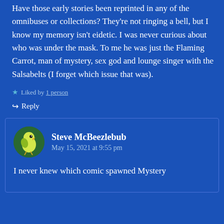Have those early stories been reprinted in any of the omnibuses or collections? They're not ringing a bell, but I know my memory isn't eidetic. I was never curious about who was under the mask. To me he was just the Flaming Carrot, man of mystery, sex god and lounge singer with the Salsabelts (I forget which issue that was).
Liked by 1 person
Reply
Steve McBeezlebub
May 15, 2021 at 9:55 pm
I never knew which comic spawned Mystery